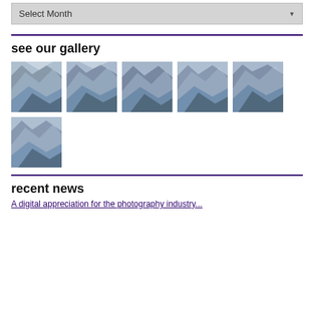Select Month
see our gallery
[Figure (photo): Gallery of 6 low-poly abstract mountain/landscape thumbnail images arranged in a grid, 5 in the first row and 1 in the second row]
recent news
A digital appreciation for the photography industry...